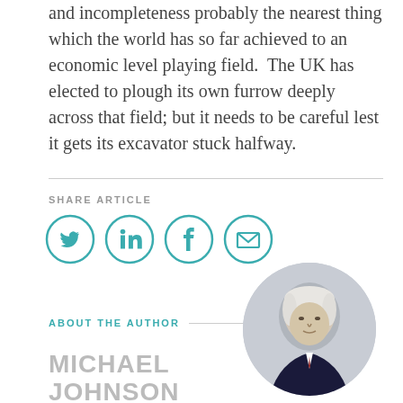and incompleteness probably the nearest thing which the world has so far achieved to an economic level playing field.  The UK has elected to plough its own furrow deeply across that field; but it needs to be careful lest it gets its excavator stuck halfway.
SHARE ARTICLE
[Figure (illustration): Four circular social share icons: Twitter, LinkedIn, Facebook, Email — teal outlined circles with teal icons]
ABOUT THE AUTHOR
[Figure (photo): Circular headshot photo of Michael Johnson, an older man with white/gray hair wearing a dark suit]
MICHAEL JOHNSON